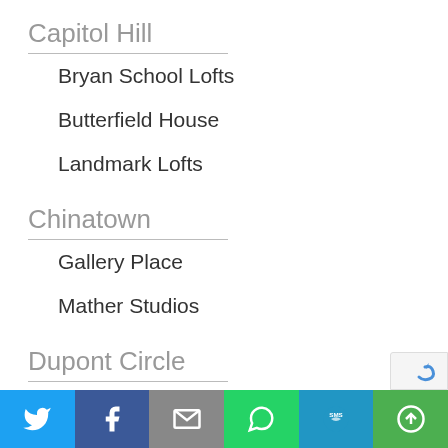Capitol Hill
Bryan School Lofts
Butterfield House
Landmark Lofts
Chinatown
Gallery Place
Mather Studios
Dupont Circle
Chinese Embassy
Duncan
[Figure (infographic): Social share bar with buttons for Twitter, Facebook, Email, WhatsApp, SMS, and More]